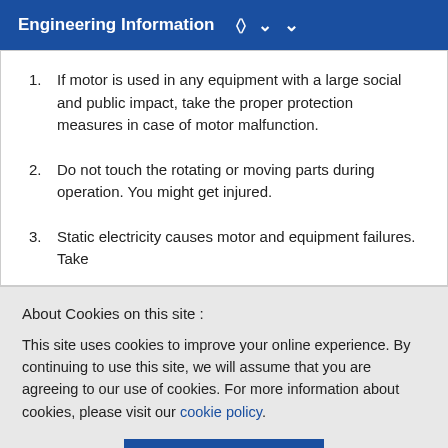Engineering Information ∨
If motor is used in any equipment with a large social and public impact, take the proper protection measures in case of motor malfunction.
Do not touch the rotating or moving parts during operation. You might get injured.
Static electricity causes motor and equipment failures. Take
About Cookies on this site :
This site uses cookies to improve your online experience. By continuing to use this site, we will assume that you are agreeing to our use of cookies. For more information about cookies, please visit our cookie policy.
Accept
centering, belt tension, chain tension, and parallelism of pulley. In